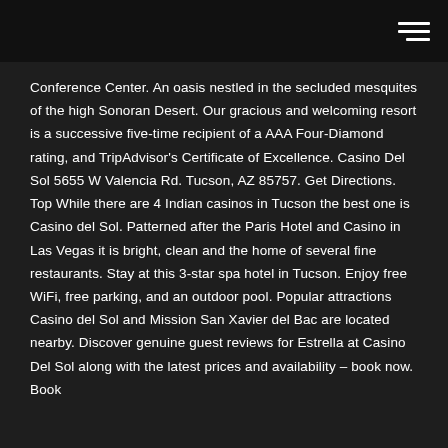Conference Center. An oasis nestled in the secluded mesquites of the high Sonoran Desert. Our gracious and welcoming resort is a successive five-time recipient of a AAA Four-Diamond rating, and TripAdvisor's Certificate of Excellence. Casino Del Sol 5655 W Valencia Rd. Tucson, AZ 85757. Get Directions. Top While there are 4 Indian casinos in Tucson the best one is Casino del Sol. Patterned after the Paris Hotel and Casino in Las Vegas it is bright, clean and the home of several fine restaurants. Stay at this 3-star spa hotel in Tucson. Enjoy free WiFi, free parking, and an outdoor pool. Popular attractions Casino del Sol and Mission San Xavier del Bac are located nearby. Discover genuine guest reviews for Estrella at Casino Del Sol along with the latest prices and availability – book now. Book